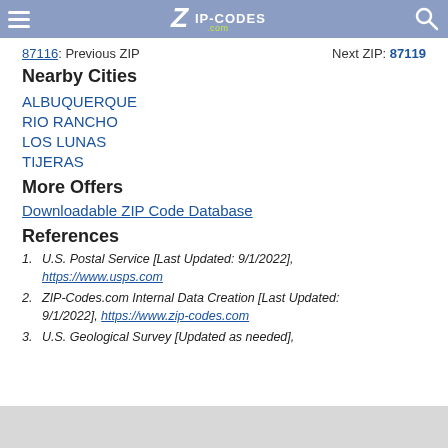ZIP-CODES.com header navigation
87116: Previous ZIP    Next ZIP: 87119
Nearby Cities
ALBUQUERQUE
RIO RANCHO
LOS LUNAS
TIJERAS
More Offers
Downloadable ZIP Code Database
References
1. U.S. Postal Service [Last Updated: 9/1/2022], https://www.usps.com
2. ZIP-Codes.com Internal Data Creation [Last Updated: 9/1/2022], https://www.zip-codes.com
3. U.S. Geological Survey [Updated as needed],